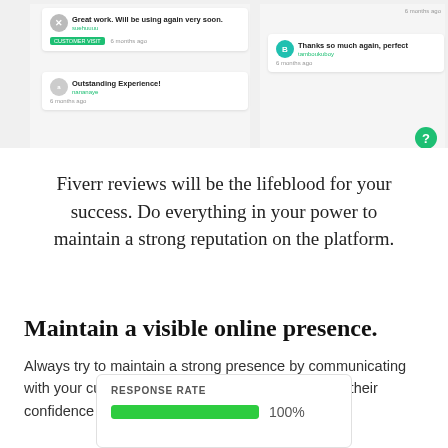[Figure (screenshot): Screenshot of Fiverr review cards showing customer feedback with usernames and ratings]
Fiverr reviews will be the lifeblood for your success. Do everything in your power to maintain a strong reputation on the platform.
Maintain a visible online presence.
Always try to maintain a strong presence by communicating with your customers. Keep the score high to boost their confidence and dialogue with you.
[Figure (screenshot): Response Rate card showing 100% with a green progress bar]